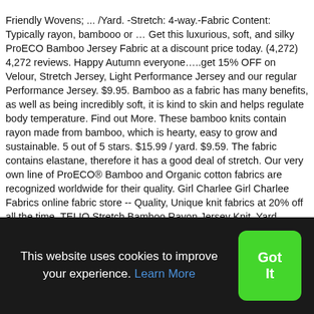Friendly Wovens; ... /Yard. -Stretch: 4-way.-Fabric Content: Typically rayon, bambooo or … Get this luxurious, soft, and silky ProECO Bamboo Jersey Fabric at a discount price today. (4,272) 4,272 reviews. Happy Autumn everyone…..get 15% OFF on Velour, Stretch Jersey, Light Performance Jersey and our regular Performance Jersey. $9.95. Bamboo as a fabric has many benefits, as well as being incredibly soft, it is kind to skin and helps regulate body temperature. Find out More. These bamboo knits contain rayon made from bamboo, which is hearty, easy to grow and sustainable. 5 out of 5 stars. $15.99 / yard. $9.59. The fabric contains elastane, therefore it has a good deal of stretch. Our very own line of ProECO® Bamboo and Organic cotton fabrics are recognized worldwide for their quality. Girl Charlee Girl Charlee Fabrics online fabric store -- Quality, Unique knit fabrics at 20% off all the time. TELIO Stretch Bamboo Rayon Jersey Knit, Yard, Black. Koshtex. Wash finished garments inside out and avoid
This website uses cookies to improve your experience. Learn More